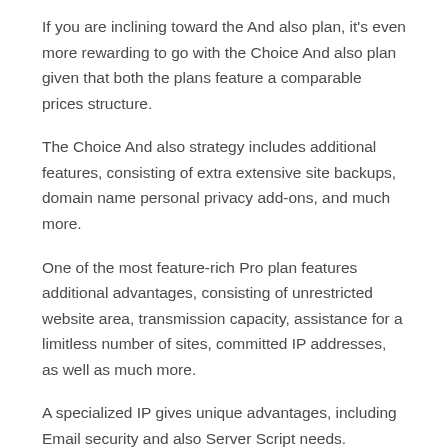If you are inclining toward the And also plan, it's even more rewarding to go with the Choice And also plan given that both the plans feature a comparable prices structure.
The Choice And also strategy includes additional features, consisting of extra extensive site backups, domain name personal privacy add-ons, and much more.
One of the most feature-rich Pro plan features additional advantages, consisting of unrestricted website area, transmission capacity, assistance for a limitless number of sites, committed IP addresses, as well as much more.
A specialized IP gives unique advantages, including Email security and also Server Script needs.
That should utilize Shared Hosting?
If you are constructing your website for the first time, Shared